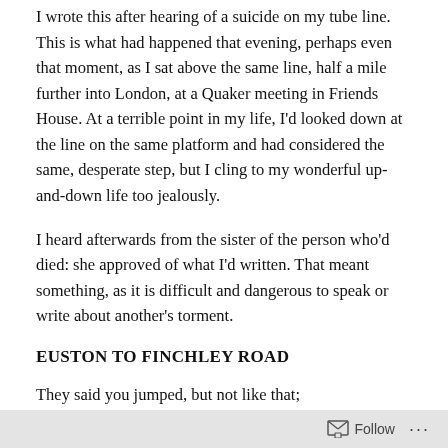I wrote this after hearing of a suicide on my tube line. This is what had happened that evening, perhaps even that moment, as I sat above the same line, half a mile further into London, at a Quaker meeting in Friends House. At a terrible point in my life, I'd looked down at the line on the same platform and had considered the same, desperate step, but I cling to my wonderful up-and-down life too jealously.
I heard afterwards from the sister of the person who'd died: she approved of what I'd written. That meant something, as it is difficult and dangerous to speak or write about another's torment.
EUSTON TO FINCHLEY ROAD
They said you jumped, but not like that;
they made it so much more anonymous.
Follow